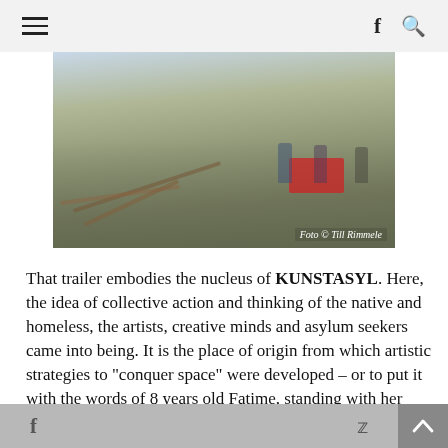Navigation bar with hamburger menu, Facebook icon, and search icon
[Figure (photo): Outdoor scene showing people around a red table with wood planks on the ground, photo credit: Foto © Till Rimmele]
Foto © Till Rimmele
That trailer embodies the nucleus of KUNSTASYL. Here, the idea of collective action and thinking of the native and homeless, the artists, creative minds and asylum seekers came into being. It is the place of origin from which artistic strategies to "conquer space" were developed – or to put it with the words of 8 years old Fatime, standing with her hands on her hips: "What did we not do for art."
f  [twitter bird icon]  [up arrow button]